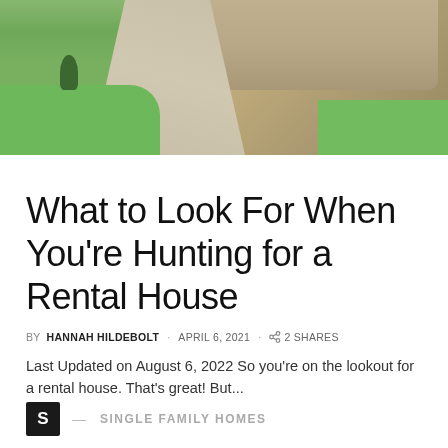[Figure (photo): Aerial/wide view of a residential house with a curved driveway and green lawn, exterior curb appeal shot]
What to Look For When You're Hunting for a Rental House
BY HANNAH HILDEBOLT · APRIL 6, 2021 · 2 SHARES
Last Updated on August 6, 2022 So you're on the lookout for a rental house. That's great! But...
S — SINGLE FAMILY HOMES